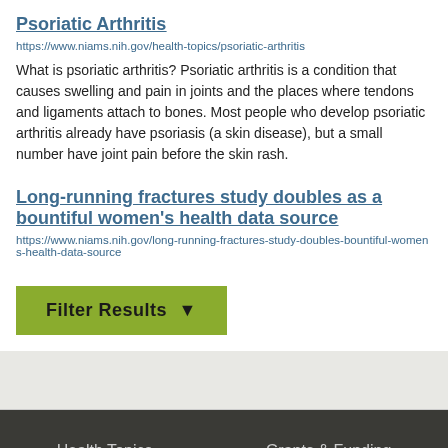Psoriatic Arthritis
https://www.niams.nih.gov/health-topics/psoriatic-arthritis
What is psoriatic arthritis? Psoriatic arthritis is a condition that causes swelling and pain in joints and the places where tendons and ligaments attach to bones. Most people who develop psoriatic arthritis already have psoriasis (a skin disease), but a small number have joint pain before the skin rash.
Long-running fractures study doubles as a bountiful women's health data source
https://www.niams.nih.gov/long-running-fractures-study-doubles-bountiful-womens-health-data-source
Filter Results
Health Topics    Grants & Funding